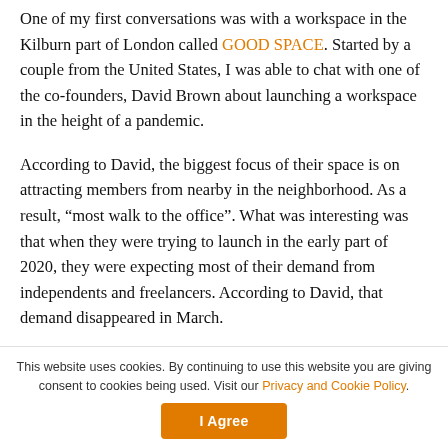One of my first conversations was with a workspace in the Kilburn part of London called GOOD SPACE. Started by a couple from the United States, I was able to chat with one of the co-founders, David Brown about launching a workspace in the height of a pandemic.
According to David, the biggest focus of their space is on attracting members from nearby in the neighborhood. As a result, “most walk to the office”. What was interesting was that when they were trying to launch in the early part of 2020, they were expecting most of their demand from independents and freelancers. According to David, that demand disappeared in March.
This website uses cookies. By continuing to use this website you are giving consent to cookies being used. Visit our Privacy and Cookie Policy.